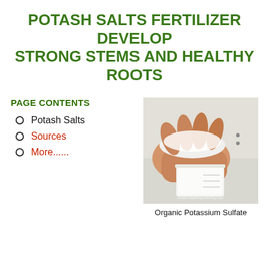POTASH SALTS FERTILIZER DEVELOP STRONG STEMS AND HEALTHY ROOTS
PAGE CONTENTS
Potash Salts
Sources
More......
[Figure (photo): A hand holding white powdered Organic Potassium Sulfate over a measuring cup, with a watermark reading bettervegablegardening.com]
Organic Potassium Sulfate